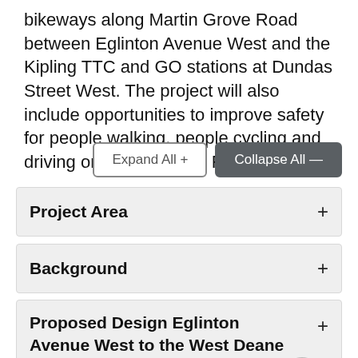bikeways along Martin Grove Road between Eglinton Avenue West and the Kipling TTC and GO stations at Dundas Street West. The project will also include opportunities to improve safety for people walking, people cycling and driving on Martin Grove Road.
Expand All +
Collapse All —
Project Area
Background
Proposed Design Eglinton Avenue West to the West Deane Trail Connection
Proposed Design – Burnhamthorpe